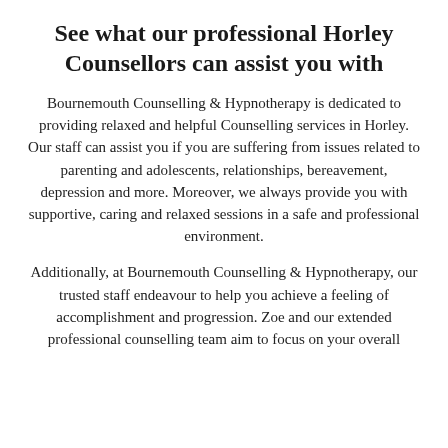See what our professional Horley Counsellors can assist you with
Bournemouth Counselling & Hypnotherapy is dedicated to providing relaxed and helpful Counselling services in Horley. Our staff can assist you if you are suffering from issues related to parenting and adolescents, relationships, bereavement, depression and more. Moreover, we always provide you with supportive, caring and relaxed sessions in a safe and professional environment.
Additionally, at Bournemouth Counselling & Hypnotherapy, our trusted staff endeavour to help you achieve a feeling of accomplishment and progression. Zoe and our extended professional counselling team aim to focus on your overall